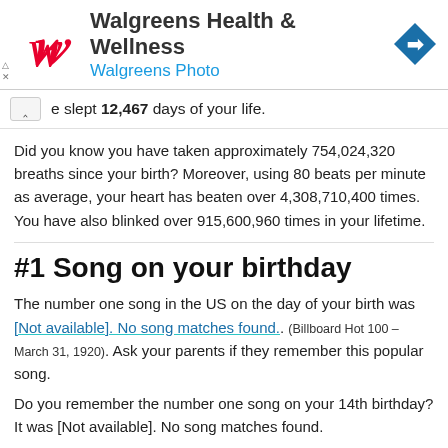[Figure (logo): Walgreens Health & Wellness advertisement banner with red Walgreens script logo on left, text 'Walgreens Health & Wellness' and 'Walgreens Photo' in center, blue diamond direction icon on right, and ad controls (triangle and X) on far left bottom.]
e slept 12,467 days of your life.
Did you know you have taken approximately 754,024,320 breaths since your birth? Moreover, using 80 beats per minute as average, your heart has beaten over 4,308,710,400 times. You have also blinked over 915,600,960 times in your lifetime.
#1 Song on your birthday
The number one song in the US on the day of your birth was [Not available]. No song matches found.. (Billboard Hot 100 – March 31, 1920). Ask your parents if they remember this popular song.
Do you remember the number one song on your 14th birthday? It was [Not available]. No song matches found.